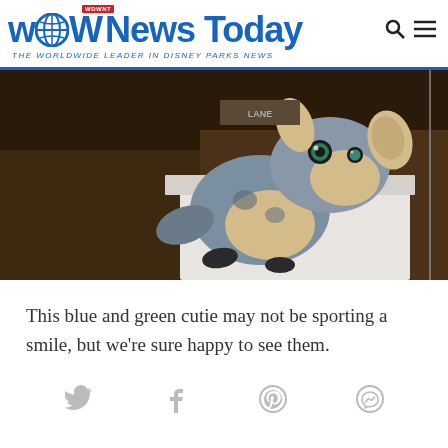WDW News Today — THE WORLDWIDE LEADER IN DISNEY PARKS NEWS
[Figure (photo): A blue and grey plush toy animal (lizard/salamander) with green eyes, sitting on a white surface in a dark background store setting]
This blue and green cutie may not be sporting a smile, but we're sure happy to see them.
[Figure (infographic): Social sharing icons row: Twitter, Facebook, Pinterest, Messenger]